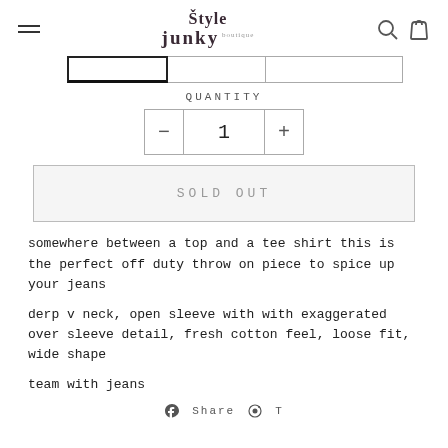Style Junky (boutique) — navigation header with hamburger menu, logo, and icons
[Figure (screenshot): Three size selector tab buttons partially visible at top]
QUANTITY
[Figure (other): Quantity selector showing minus button, 1, plus button]
SOLD OUT
somewhere between a top and a tee shirt this is the perfect off duty throw on piece to spice up your jeans
derp v neck, open sleeve with with exaggerated over sleeve detail, fresh cotton feel, loose fit, wide shape
team with jeans
Share social icons at bottom